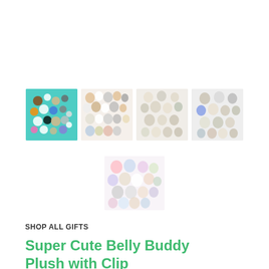[Figure (photo): Grid of colorful cartoon animal plush toys on teal background]
[Figure (photo): Group of animal clip-on plush toys on white background]
[Figure (photo): Group of animal clip-on plush toys on light background]
[Figure (photo): Group of grey and neutral animal clip-on plush toys]
[Figure (photo): Group of pastel colored animal plush clip-ons]
SHOP ALL GIFTS
Super Cute Belly Buddy Plush with Clip